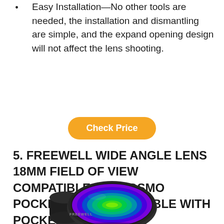Easy Installation—No other tools are needed, the installation and dismantling are simple, and the expand opening design will not affect the lens shooting.
Check Price
5. FREEWELL WIDE ANGLE LENS 18MM FIELD OF VIEW COMPATIBLE WITH OSMO POCKET (NOT COMPATIBLE WITH POCKET 2)
[Figure (photo): Freewell wide angle lens product photo showing a circular camera lens adapter with a rainbow/iridescent multicolored lens surface in a dark black housing, branded with FREEWELL text.]